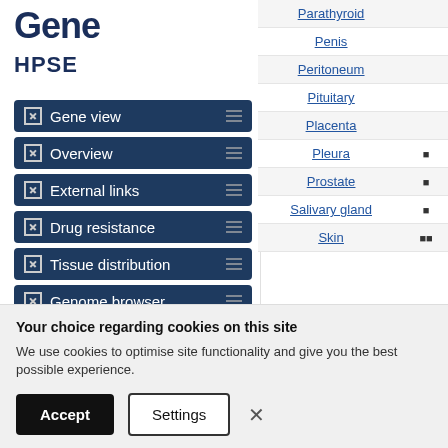Gene
HPSE
Gene view
Overview
External links
Drug resistance
Tissue distribution
Genome browser
Mutation distribution
| Tissue | Marker |
| --- | --- |
| Parathyroid |  |
| Penis |  |
| Peritoneum |  |
| Pituitary |  |
| Placenta |  |
| Pleura | ■ |
| Prostate | ■ |
| Salivary gland | ■ |
| Skin | ■ |
Your choice regarding cookies on this site
We use cookies to optimise site functionality and give you the best possible experience.
Accept
Settings